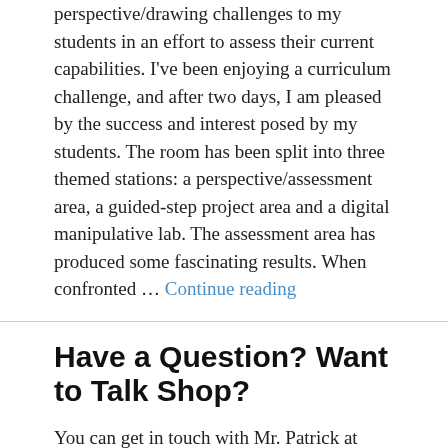perspective/drawing challenges to my students in an effort to assess their current capabilities. I've been enjoying a curriculum challenge, and after two days, I am pleased by the success and interest posed by my students. The room has been split into three themed stations: a perspective/assessment area, a guided-step project area and a digital manipulative lab. The assessment area has produced some fascinating results. When confronted … Continue reading
Have a Question? Want to Talk Shop?
You can get in touch with Mr. Patrick at woodshopcowboy AT gmail DOT com.
Blog at WordPress.com.